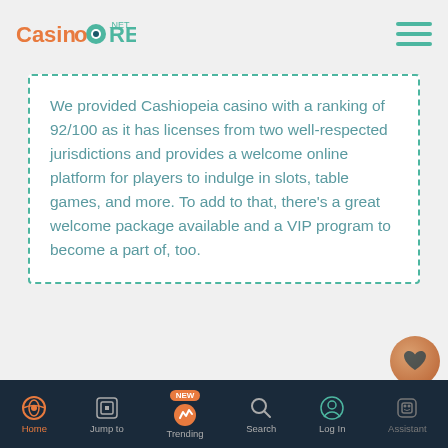Casino Reviews .net
We provided Cashiopeia casino with a ranking of 92/100 as it has licenses from two well-respected jurisdictions and provides a welcome online platform for players to indulge in slots, table games, and more. To add to that, there's a great welcome package available and a VIP program to become a part of, too.
What Cashiopeia Games Are There to Choose From?
With various developers providing their software to the casino,
Home | Jump to | Trending | Search | Log In | Assistant